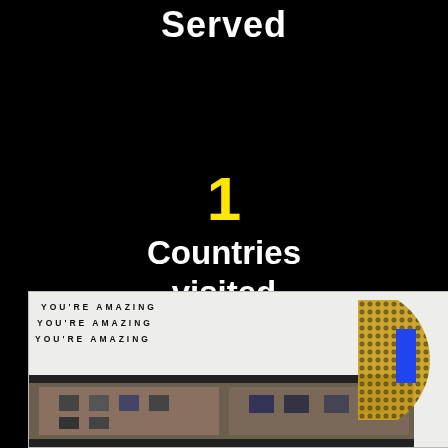Served
1
Countries visited
[Figure (photo): Bottom portion of page showing a notebook/card with 'YOU'RE AMAZING' repeated three times in uppercase bold text, a photo strip at bottom showing a brick building exterior, a blue rectangular strip, and a partial golden/bronze circular medallion on the right side, all on a black background.]